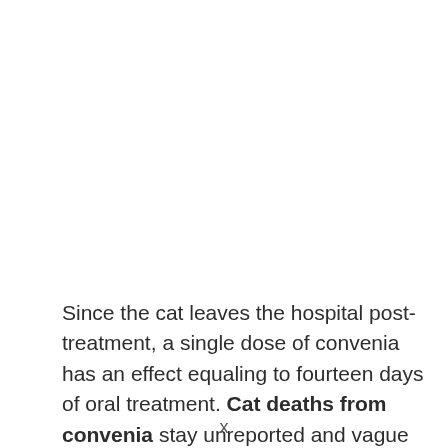Since the cat leaves the hospital post-treatment, a single dose of convenia has an effect equaling to fourteen days of oral treatment. Cat deaths from convenia stay unreported and vague to be related to
x